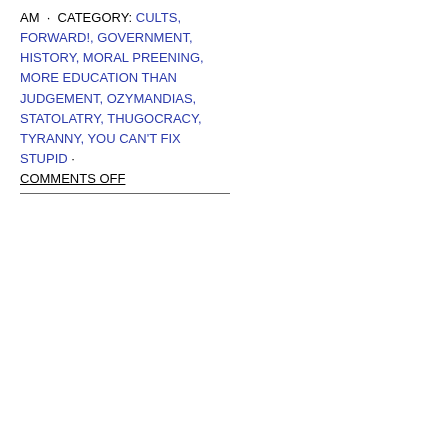AM · CATEGORY: CULTS, FORWARD!, GOVERNMENT, HISTORY, MORAL PREENING, MORE EDUCATION THAN JUDGEMENT, OZYMANDIAS, STATOLATRY, THUGOCRACY, TYRANNY, YOU CAN'T FIX STUPID · COMMENTS OFF
Government Lawlessness
[Figure (screenshot): Video thumbnail screenshot showing Andrew Napolitano - Government Lawle... with a US flag icon on black background]